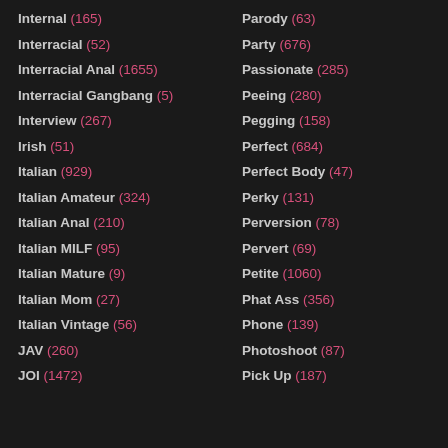Internal (165)
Interracial (52)
Interracial Anal (1655)
Interracial Gangbang (5)
Interview (267)
Irish (51)
Italian (929)
Italian Amateur (324)
Italian Anal (210)
Italian MILF (95)
Italian Mature (9)
Italian Mom (27)
Italian Vintage (56)
JAV (260)
JOI (1472)
Parody (63)
Party (676)
Passionate (285)
Peeing (280)
Pegging (158)
Perfect (684)
Perfect Body (47)
Perky (131)
Perversion (78)
Pervert (69)
Petite (1060)
Phat Ass (356)
Phone (139)
Photoshoot (87)
Pick Up (187)